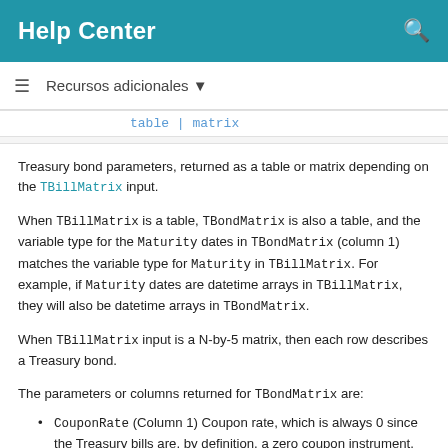Help Center
Recursos adicionales
table | matrix
Treasury bond parameters, returned as a table or matrix depending on the TBillMatrix input.
When TBillMatrix is a table, TBondMatrix is also a table, and the variable type for the Maturity dates in TBondMatrix (column 1) matches the variable type for Maturity in TBillMatrix. For example, if Maturity dates are datetime arrays in TBillMatrix, they will also be datetime arrays in TBondMatrix.
When TBillMatrix input is a N-by-5 matrix, then each row describes a Treasury bond.
The parameters or columns returned for TBondMatrix are:
CouponRate (Column 1) Coupon rate, which is always 0 since the Treasury bills are, by definition, a zero coupon instrument.